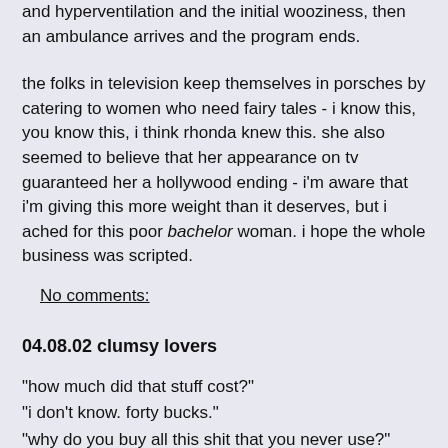and hyperventilation and the initial wooziness, then an ambulance arrives and the program ends.
the folks in television keep themselves in porsches by catering to women who need fairy tales - i know this, you know this, i think rhonda knew this. she also seemed to believe that her appearance on tv guaranteed her a hollywood ending - i'm aware that i'm giving this more weight than it deserves, but i ached for this poor bachelor woman. i hope the whole business was scripted.
No comments:
04.08.02 clumsy lovers
"how much did that stuff cost?"
"i don't know. forty bucks."
"why do you buy all this shit that you never use?"
"why do you buy all this shit you never use?"
"like what?"
"pants."
"pants?"
"the new york times."